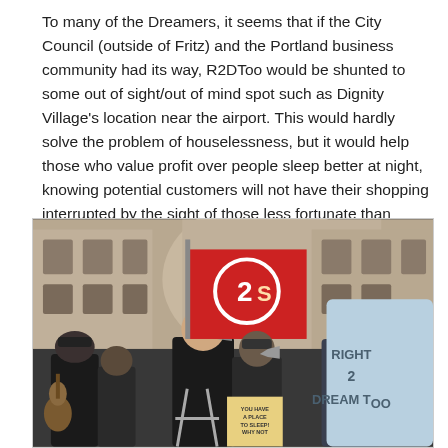To many of the Dreamers, it seems that if the City Council (outside of Fritz) and the Portland business community had its way, R2DToo would be shunted to some out of sight/out of mind spot such as Dignity Village's location near the airport. This would hardly solve the problem of houselessness, but it would help those who value profit over people sleep better at night, knowing potential customers will not have their shopping interrupted by the sight of those less fortunate than themselves.
[Figure (photo): Outdoor protest scene in front of a large stone building. A bald man speaks into a megaphone at center. Behind him is a large red flag with a circle-2-S symbol. To the right, a person holds a large light-blue banner reading 'RIGHT 2 DREAM TOO'. Other protesters are visible around him, one holding a sign reading 'YOU HAVE A PLACE TO SLEEP! WHY NOT'. People are wearing winter clothing.]